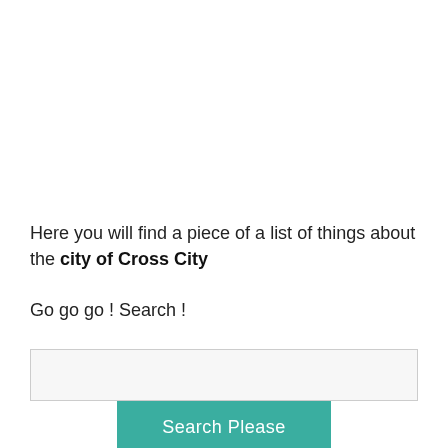Here you will find a piece of a list of things about the city of Cross City
Go go go ! Search !
[Figure (other): Search input box (text field) and a teal 'Search Please' button below it]